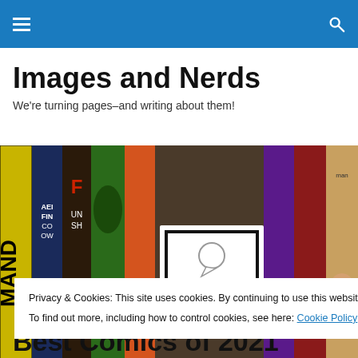Images and Nerds — navigation bar with hamburger menu and search icon
Images and Nerds
We're turning pages–and writing about them!
[Figure (photo): A row of colorful comic book spines on a shelf, with a white square logo showing 'IN' in the center.]
Privacy & Cookies: This site uses cookies. By continuing to use this website, you agree to their use.
To find out more, including how to control cookies, see here: Cookie Policy
Close and accept
Best Comics of 2021